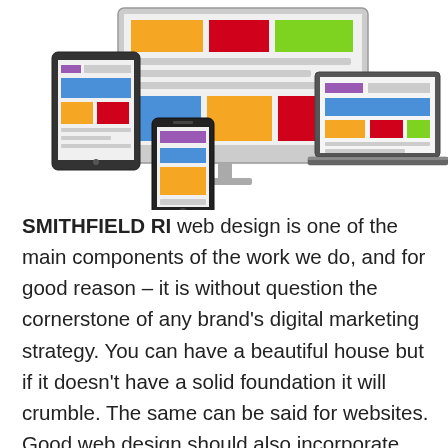[Figure (illustration): Responsive web design illustration showing a desktop monitor, laptop, tablet, and smartphone displaying colorful website mockups with orange, red, green, blue, and purple layout blocks]
SMITHFIELD RI web design is one of the main components of the work we do, and for good reason – it is without question the cornerstone of any brand's digital marketing strategy. You can have a beautiful house but if it doesn't have a solid foundation it will crumble. The same can be said for websites. Good web design should also incorporate SEO and other traffic-driving strategies to make sure the right